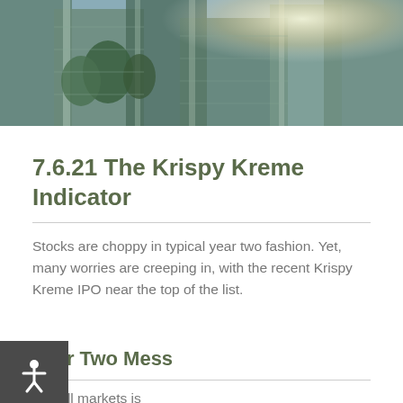[Figure (photo): Upward-angle photo of glass skyscraper buildings with green trees and sunlight reflecting off the glass facade]
7.6.21 The Krispy Kreme Indicator
Stocks are choppy in typical year two fashion. Yet, many worries are creeping in, with the recent Krispy Kreme IPO near the top of the list.
Year Two Mess
two of bull markets is